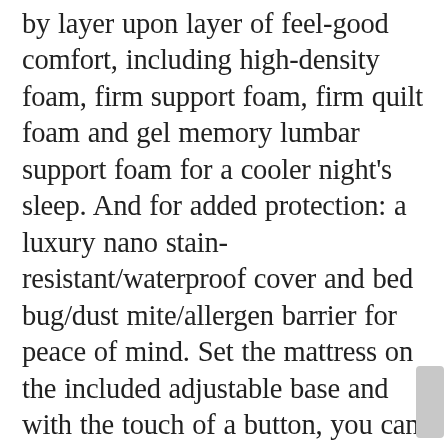by layer upon layer of feel-good comfort, including high-density foam, firm support foam, firm quilt foam and gel memory lumbar support foam for a cooler night's sleep. And for added protection: a luxury nano stain-resistant/waterproof cover and bed bug/dust mite/allergen barrier for peace of mind. Set the mattress on the included adjustable base and with the touch of a button, you can position it to eliminate pressure points and apply the head and foot massage. Raise your legs to increase blood circulation and relieve pressure on your lower back. Raise your upper body so you can sit up in bed or sleep in a partially inclined position (helpful for people who snore or experience acid reflux). You'll also love that this base is app compatible and offers two memory programmable positions. For added